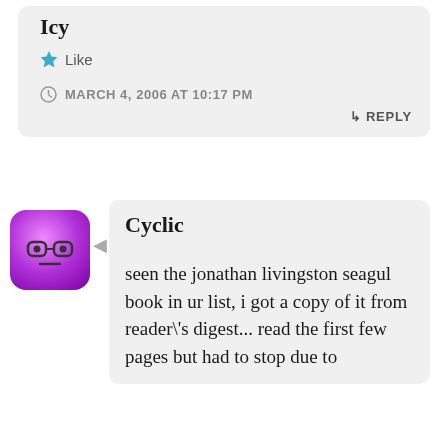Icy
★ Like
MARCH 4, 2006 AT 10:17 PM
↳ REPLY
Cyclic
seen the jonathan livingston seagul book in ur list, i got a copy of it from reader\'s digest... read the first few pages but had to stop due to